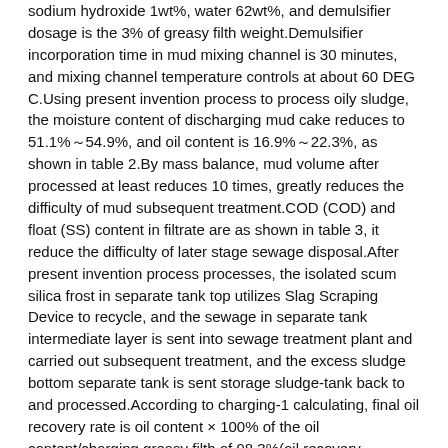sodium hydroxide 1wt%, water 62wt%, and demulsifier dosage is the 3% of greasy filth weight.Demulsifier incorporation time in mud mixing channel is 30 minutes, and mixing channel temperature controls at about 60 DEG C.Using present invention process to process oily sludge, the moisture content of discharging mud cake reduces to 51.1%~54.9%, and oil content is 16.9%~22.3%, as shown in table 2.By mass balance, mud volume after processed at least reduces 10 times, greatly reduces the difficulty of mud subsequent treatment.COD (COD) and float (SS) content in filtrate are as shown in table 3, it reduce the difficulty of later stage sewage disposal.After present invention process processes, the isolated scum silica frost in separate tank top utilizes Slag Scraping Device to recycle, and the sewage in separate tank intermediate layer is sent into sewage treatment plant and carried out subsequent treatment, and the excess sludge bottom separate tank is sent storage sludge-tank back to and processed.According to charging-1 calculating, final oil recovery rate is oil content × 100% of the oil content/charging greasy filth of 98.3%(oil recovery rate=recycling).